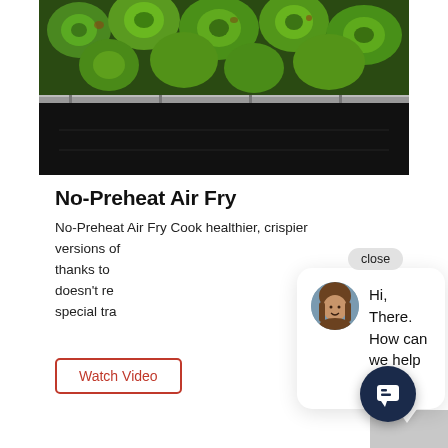[Figure (photo): Brussels sprouts roasting on an oven rack, photographed from above showing dark oven interior below]
No-Preheat Air Fry
No-Preheat Air Fry Cook healthier, crispier versions of thanks to doesn't re special tra
[Figure (screenshot): Chat widget popup with avatar of a woman with brown hair and message 'Hi, There. How can we help you?' with a close pill button, and a dark navy chat icon button at bottom right]
Watch Video